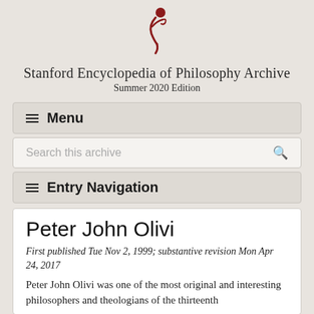[Figure (logo): Stanford Encyclopedia of Philosophy logo — a stylized red figure]
Stanford Encyclopedia of Philosophy Archive
Summer 2020 Edition
≡ Menu
Search this archive
≡ Entry Navigation
Peter John Olivi
First published Tue Nov 2, 1999; substantive revision Mon Apr 24, 2017
Peter John Olivi was one of the most original and interesting philosophers and theologians of the thirteenth